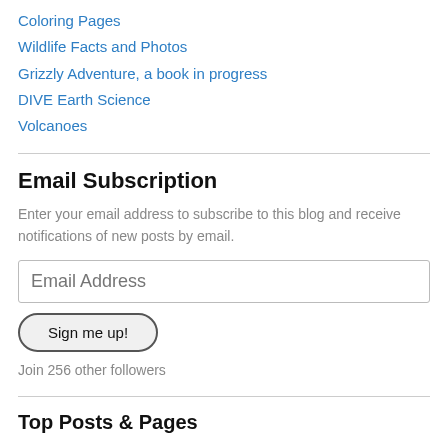Coloring Pages
Wildlife Facts and Photos
Grizzly Adventure, a book in progress
DIVE Earth Science
Volcanoes
Email Subscription
Enter your email address to subscribe to this blog and receive notifications of new posts by email.
Email Address
Sign me up!
Join 256 other followers
Top Posts & Pages